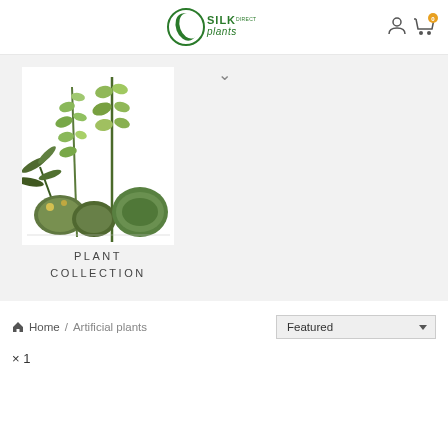[Figure (logo): Silk Plants Direct logo — circular icon with leaf design and 'SILK Plants DIRECT' text]
[Figure (photo): Collection of artificial green plants arranged together — tall climbing plant, palm fronds, round leaf plants, on white background]
PLANT COLLECTION
Home / Artificial plants
Featured
× 1